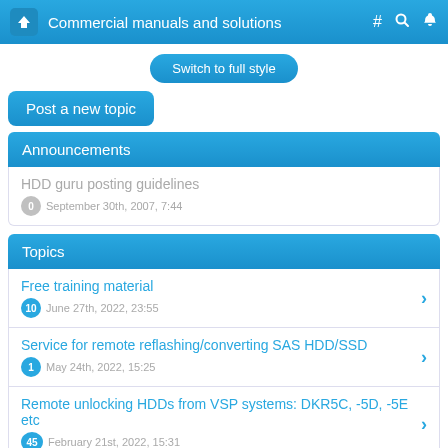Commercial manuals and solutions
Switch to full style
Post a new topic
Announcements
HDD guru posting guidelines
0 September 30th, 2007, 7:44
Topics
Free training material
10 June 27th, 2022, 23:55
Service for remote reflashing/converting SAS HDD/SSD
1 May 24th, 2022, 15:25
Remote unlocking HDDs from VSP systems: DKR5C, -5D, -5E etc
45 February 21st, 2022, 15:31
Go to page: 1 2 3
Ann and her training books and guides
27 August 20th, 2021, 4:54
Go to page: 1 2